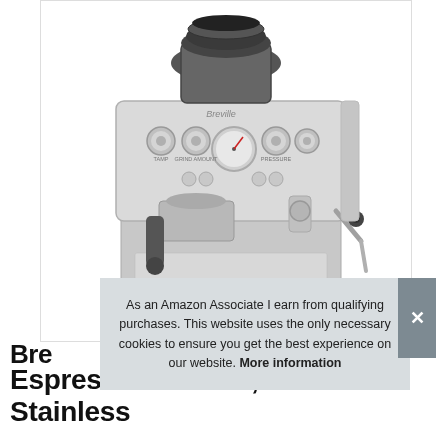[Figure (photo): Breville espresso machine in brushed stainless steel, with built-in grinder on top, pressure gauge, steam wand on the right, portafilter, and multiple control knobs. Shot on white background.]
As an Amazon Associate I earn from qualifying purchases. This website uses the only necessary cookies to ensure you get the best experience on our website. More information
Breville Espresso Machine, Brushed Stainless